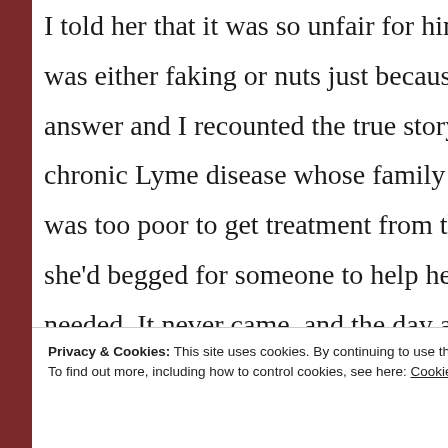I told her that it was so unfair for him to in... was either faking or nuts just because he c... answer and I recounted the true story of a... chronic Lyme disease whose family wouldn... was too poor to get treatment from the rig... she'd begged for someone to help her get t... needed. It never came, and the day after p... about her plight she walked in front of a tr... committed suicide, and that I'd spoken wit... doctors about what I wanted to be done if ... to become unbearable with no relief in sig...
She responded that if I ever get to that poi...
Privacy & Cookies: This site uses cookies. By continuing to use this website, you agree to their use. To find out more, including how to control cookies, see here: Cookie Policy
Close and accept